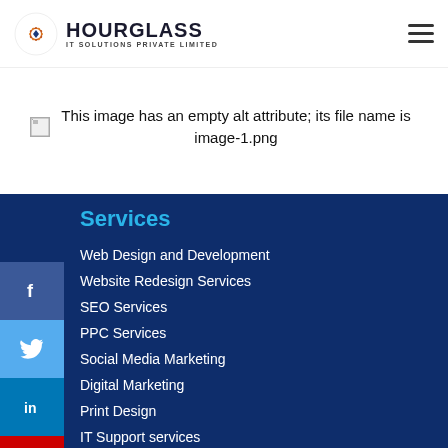HOURGLASS IT SOLUTIONS PRIVATE LIMITED
[Figure (other): Broken image placeholder with alt text: 'This image has an empty alt attribute; its file name is image-1.png']
[Figure (other): Social media sidebar icons: Facebook, Twitter, LinkedIn, YouTube]
Services
Web Design and Development
Website Redesign Services
SEO Services
PPC Services
Social Media Marketing
Digital Marketing
Print Design
IT Support services